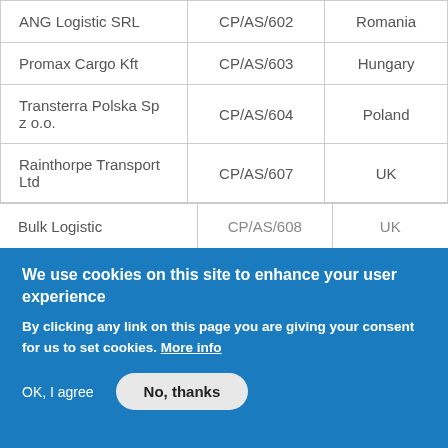| ANG Logistic SRL | CP/AS/602 | Romania |
| Promax Cargo Kft | CP/AS/603 | Hungary |
| Transterra Polska Sp z o.o. | CP/AS/604 | Poland |
| Rainthorpe Transport Ltd | CP/AS/607 | UK |
| Bulk Logistic | CP/AS/608 | UK |
We use cookies on this site to enhance your user experience
By clicking any link on this page you are giving your consent for us to set cookies. More info
OK, I agree   No, thanks